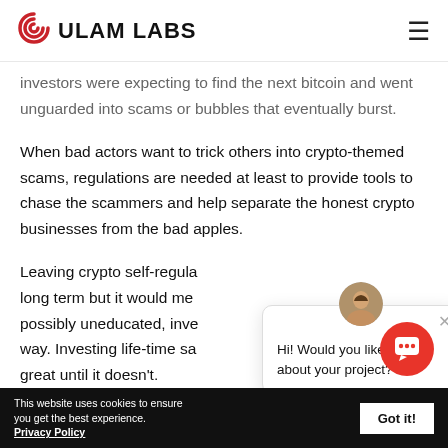ULAM LABS
investors were expecting to find the next bitcoin and went unguarded into scams or bubbles that eventually burst.
When bad actors want to trick others into crypto-themed scams, regulations are needed at least to provide tools to chase the scammers and help separate the honest crypto businesses from the bad apples.
Leaving crypto self-regula... long term but it would me... possibly uneducated, inve... way. Investing life-time sa... great until it doesn't.
[Figure (other): Chat support popup with avatar photo of a woman and message: Hi! Would you like to talk about your project?]
[Figure (other): Red circular chat button icon in bottom right corner]
This website uses cookies to ensure you get the best experience. Privacy Policy | Got it!